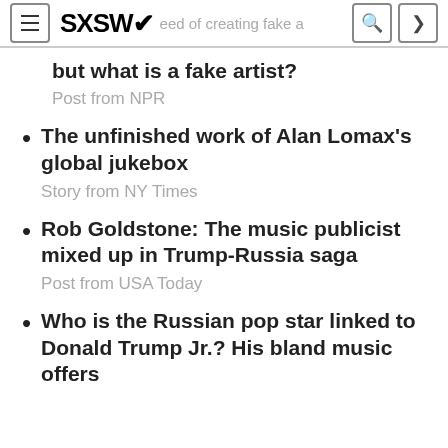SXSW — accused of creating fake a...
but what is a fake artist?
Post from NPR
The unfinished work of Alan Lomax's global jukebox
Story from NY Times
Rob Goldstone: The music publicist mixed up in Trump-Russia saga
Post from USA Today
Who is the Russian pop star linked to Donald Trump Jr.? His bland music offers